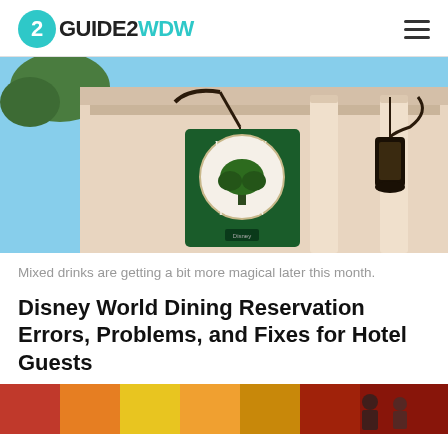GUIDE2WDW
[Figure (photo): Photo of Liberty Tree Tavern exterior sign at Disney World, showing white colonial-style architecture with columns and a hanging lantern. The green sign with a tree logo reads 'Liberty Tree Tavern'.]
Mixed drinks are getting a bit more magical later this month.
Disney World Dining Reservation Errors, Problems, and Fixes for Hotel Guests
[Figure (photo): Bottom strip of a colorful image, showing vibrant rainbow-colored lights or decorations.]